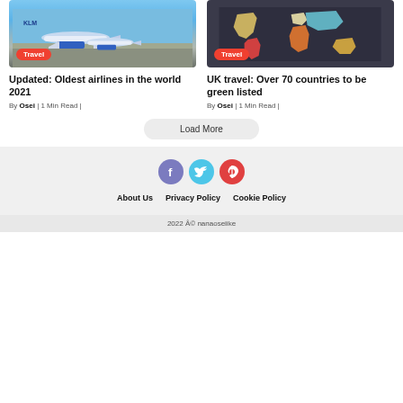[Figure (photo): Photo of KLM airplanes on tarmac with blue sky, Travel badge overlay]
[Figure (photo): Colorful world map on dark background, Travel badge overlay]
Updated: Oldest airlines in the world 2021
UK travel: Over 70 countries to be green listed
By Osei | 1 Min Read |
By Osei | 1 Min Read |
Load More
[Figure (other): Social media icons: Facebook, Twitter, Pinterest]
About Us   Privacy Policy   Cookie Policy
2022 Â© nanaoseiike